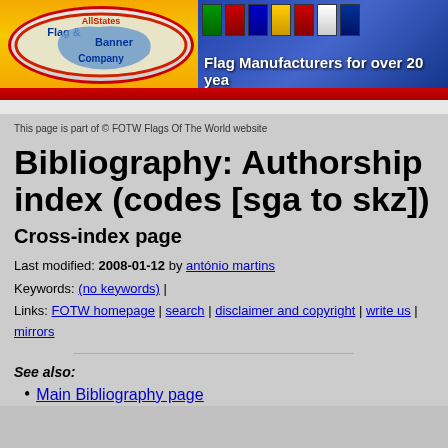[Figure (logo): AllStates Flag & Banner Company advertisement banner with oval logo containing US map, flags images, and slogan 'Flag Manufacturers for over 20 years']
This page is part of © FOTW Flags Of The World website
Bibliography: Authorship index (codes [sga to skz])
Cross-index page
Last modified: 2008-01-12 by antónio martins
Keywords: (no keywords) |
Links: FOTW homepage | search | disclaimer and copyright | write us | mirrors
See also:
Main Bibliography page